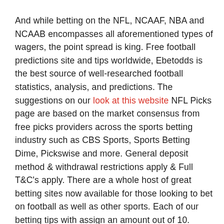And while betting on the NFL, NCAAF, NBA and NCAAB encompasses all aforementioned types of wagers, the point spread is king. Free football predictions site and tips worldwide, Ebetodds is the best source of well-researched football statistics, analysis, and predictions. The suggestions on our look at this website NFL Picks page are based on the market consensus from free picks providers across the sports betting industry such as CBS Sports, Sports Betting Dime, Pickswise and more. General deposit method & withdrawal restrictions apply & Full T&C's apply. There are a whole host of great betting sites now available for those looking to bet on football as well as other sports. Each of our betting tips with assign an amount out of 10.